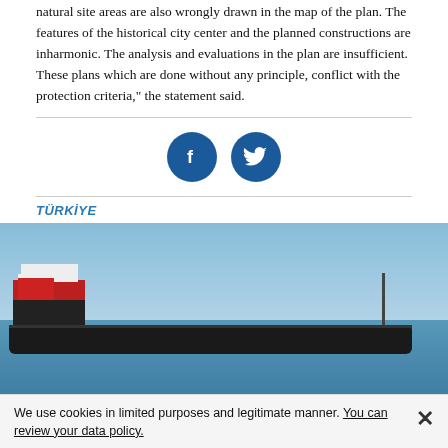natural site areas are also wrongly drawn in the map of the plan. The features of the historical city center and the planned constructions are inharmonic. The analysis and evaluations in the plan are insufficient. These plans which are done without any principle, conflict with the protection criteria," the statement said.
[Figure (illustration): Two social media share buttons — Facebook (f) and Twitter (bird) icons, dark blue circles]
TÜRKİYE
[Figure (photo): A large dark-hulled cargo/freight ship sailing on open sea against a blue sky. The ship has a red and white superstructure on the left and a tall mast on the right side.]
We use cookies in limited purposes and legitimate manner. You can review your data policy.